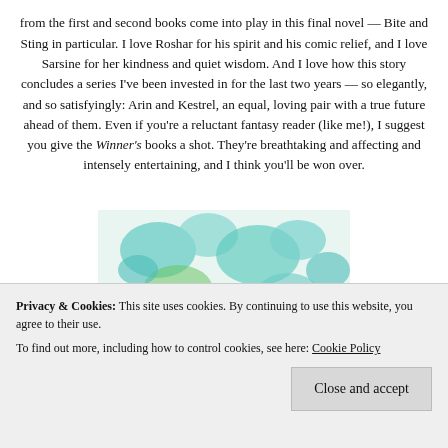from the first and second books come into play in this final novel — Bite and Sting in particular. I love Roshar for his spirit and his comic relief, and I love Sarsine for her kindness and quiet wisdom. And I love how this story concludes a series I've been invested in for the last two years — so elegantly, and so satisfyingly: Arin and Kestrel, an equal, loving pair with a true future ahead of them. Even if you're a reluctant fantasy reader (like me!), I suggest you give the Winner's books a shot. They're breathtaking and affecting and intensely entertaining, and I think you'll be won over.
[Figure (photo): Partial book cover image showing blue and green paint splash / watercolor pattern, partially obscured by cookie consent banner]
Privacy & Cookies: This site uses cookies. By continuing to use this website, you agree to their use.
To find out more, including how to control cookies, see here: Cookie Policy
[Close and accept button]